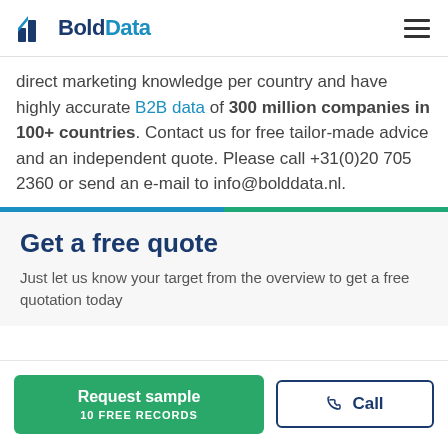BoldData
direct marketing knowledge per country and have highly accurate B2B data of 300 million companies in 100+ countries. Contact us for free tailor-made advice and an independent quote. Please call +31(0)20 705 2360 or send an e-mail to info@bolddata.nl.
Get a free quote
Just let us know your target from the overview to get a free quotation today
Request sample 10 FREE RECORDS
Call